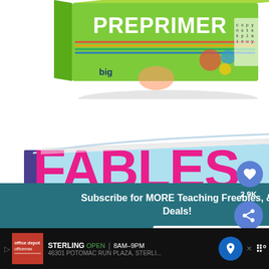[Figure (photo): Top portion of a colorful educational product box labeled 'PREPRIMER' with bright colors and educational activity imagery]
[Figure (photo): A light blue book with large pink text reading 'FABLES' shown at an angle, partially cut off]
Subscribe for MORE Teaching Freebies, & Deals!
[Figure (other): Name text input field placeholder]
[Figure (other): Email text input field placeholder]
[Figure (other): Heart/like button showing 2.9K likes and a share icon button in teal/blue]
[Figure (other): WHAT'S NEXT panel showing Addition Color by Number thumbnail]
STERLING  OPEN  8AM–9PM  46301 POTOMAC RUN PLAZA, STERLI...